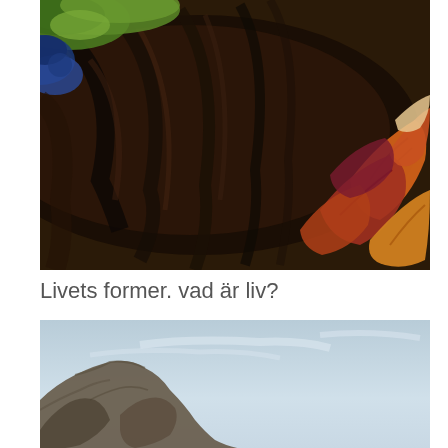[Figure (photo): Close-up macro photograph of a mossy, lichen-covered log or bark with autumn leaves on the right side — blue lichen, green moss, dark brown wood textures, orange and red fallen leaves]
Livets former. vad är liv?
[Figure (photo): Landscape photograph of a rocky hillside or mountain ridge against a pale blue sky with faint wispy clouds]